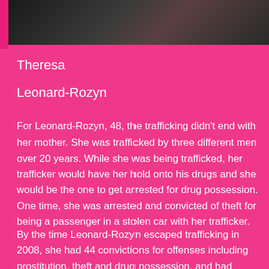[Figure (photo): Partial photo of a woman with reddish-blonde hair against a dark background, with a pink vertical bar on the left side]
Theresa
Leonard-Rozyn
For Leonard-Rozyn, 48, the trafficking didn't end with her mother. She was trafficked by three different men over 20 years. While she was being trafficked, her trafficker would have her hold onto his drugs and she would be the one to get arrested for drug possession. One time, she was arrested and convicted of theft for being a passenger in a stolen car with her trafficker.
By the time Leonard-Rozyn escaped trafficking in 2008, she had 44 convictions for offenses including prostitution, theft and drug possession, and had